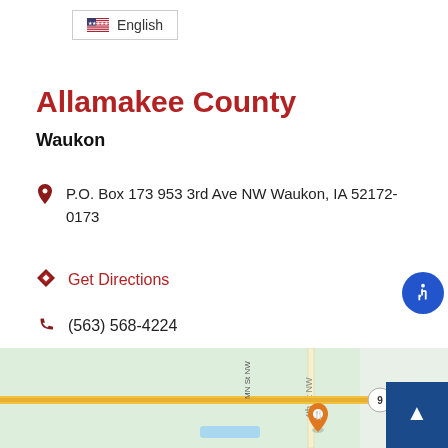English
Allamakee County
Waukon
P.O. Box 173 953 3rd Ave NW Waukon, IA 52172-0173
Get Directions
(563) 568-4224
Monday & Wednesday 8:00am-4:30pm; Tuesday, Thursday & Friday 8:00am-3:00pm; or by appointment
[Figure (map): Street map showing area near 953 3rd Ave NW Waukon IA with map pin and road markings]